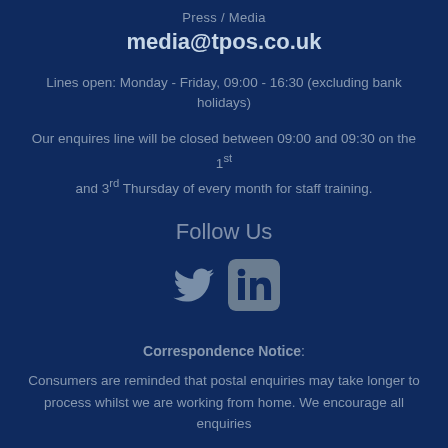Press / Media
media@tpos.co.uk
Lines open: Monday - Friday, 09:00 - 16:30 (excluding bank holidays)
Our enquires line will be closed between 09:00 and 09:30 on the 1st and 3rd Thursday of every month for staff training.
Follow Us
[Figure (illustration): Twitter bird icon and LinkedIn icon]
Correspondence Notice: Consumers are reminded that postal enquiries may take longer to process whilst we are working from home. We encourage all enquiries